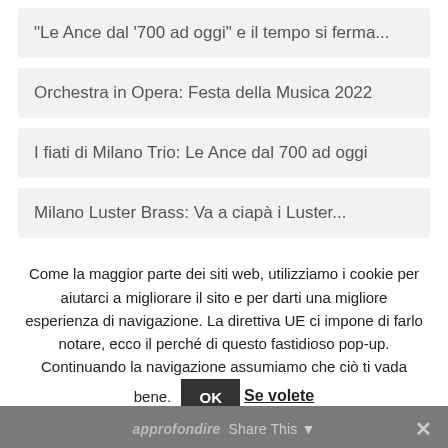“Le Ance dal ’700 ad oggi” e il tempo si ferma...
Orchestra in Opera: Festa della Musica 2022
I fiati di Milano Trio: Le Ance dal 700 ad oggi
Milano Luster Brass: Va a ciapà i Luster...
Come la maggior parte dei siti web, utilizziamo i cookie per aiutarci a migliorare il sito e per darti una migliore esperienza di navigazione. La direttiva UE ci impone di farlo notare, ecco il perché di questo fastidioso pop-up. Continuando la navigazione assumiamo che ciò ti vada bene.
approfondire  Share This  ×